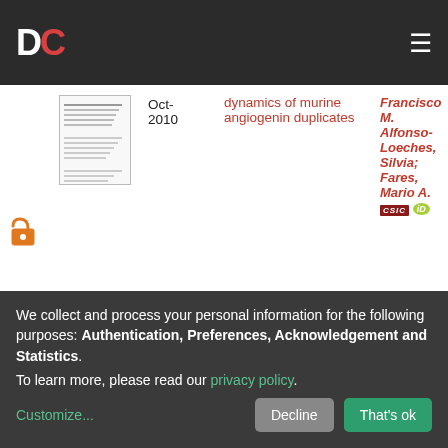DC (Digital Commons) header navigation
|  |  | Date | Title | Author |
| --- | --- | --- | --- | --- |
| [open access] | [thumbnail] | Oct-2010 | dynamics of murine angiogenin duplicates | Francisco M. Alfonso-Loeches, Silvia; Fares, Mario A. [CSIC][ORCID] |
| [closed access] |  | May-2010 | Pivotal Advance: Avian colony-stimulating factor 1 (CSF-1), interleukin-34 (IL-34), and CSF-1... | Garceau, Valerie; Fares, Mario A. [CSIC][ORCID]; Hume, David A. |
We collect and process your personal information for the following purposes: Authentication, Preferences, Acknowledgement and Statistics. To learn more, please read our privacy policy.
Customize... Decline That's ok